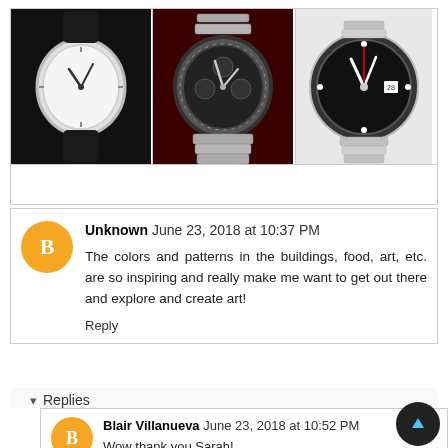[Figure (photo): Three watch images in a row: left is a white-dial dress watch on a black leather strap, center is an Omega Speedmaster chronograph on a bracelet, right is a Rolex Submariner with black dial on a bracelet.]
Unknown  June 23, 2018 at 10:37 PM

The colors and patterns in the buildings, food, art, etc. are so inspiring and really make me want to get out there and explore and create art!

Reply
▾  Replies
Blair Villanueva  June 23, 2018 at 10:52 PM

Wow thank you Sarah!